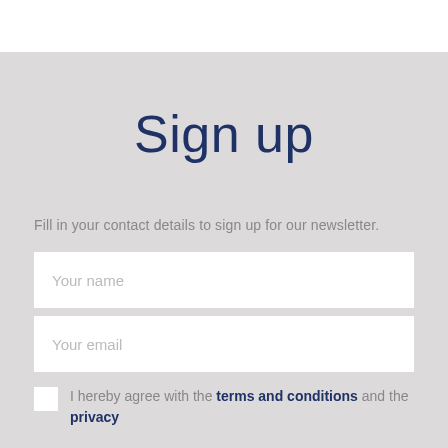Sign up
Fill in your contact details to sign up for our newsletter.
Your name
Your email
I hereby agree with the terms and conditions and the privacy